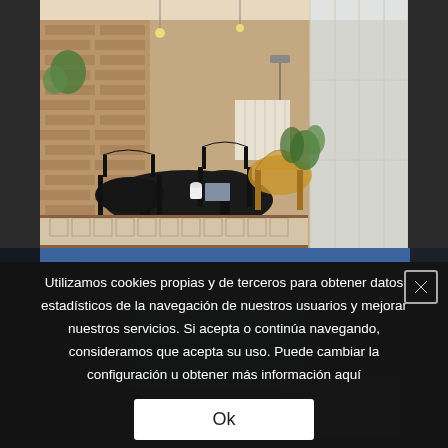[Figure (photo): Interior photo of a sunlit room with exposed brick walls, black Windsor chairs around a dark round table, a wicker/rattan armchair, a white radiator, decorative patterned tile floor, hanging pendant bulbs, and large windows with white frames.]
[Figure (photo): Partially visible darker interior room below, obscured by cookie consent overlay.]
Utilizamos cookies propias y de terceros para obtener datos estadísticos de la navegación de nuestros usuarios y mejorar nuestros servicios. Si acepta o continúa navegando, consideramos que acepta su uso. Puede cambiar la configuración u obtener más información aquí
Ok